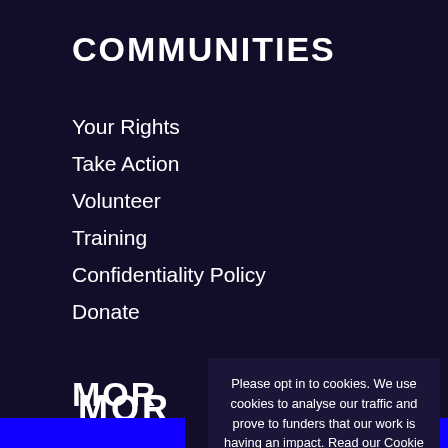COMMUNITIES
Your Rights
Take Action
Volunteer
Training
Confidentiality Policy
Donate
MOR
Help
Comp
Data
Please opt in to cookies. We use cookies to analyse our traffic and prove to funders that our work is having an impact. Read our Cookie Policy.
NO THANKS
OK